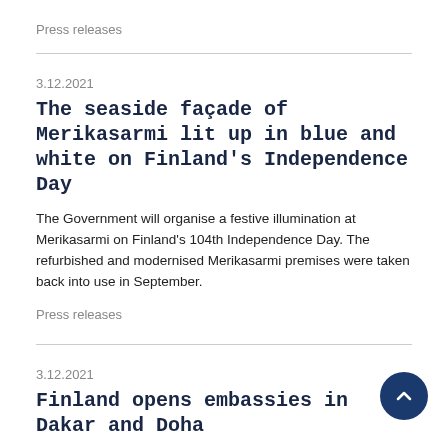Press releases
3.12.2021
The seaside façade of Merikasarmi lit up in blue and white on Finland's Independence Day
The Government will organise a festive illumination at Merikasarmi on Finland's 104th Independence Day. The refurbished and modernised Merikasarmi premises were taken back into use in September.
Press releases
3.12.2021
Finland opens embassies in Dakar and Doha
Today, the President of the Republic Sauli Niinistö approved an